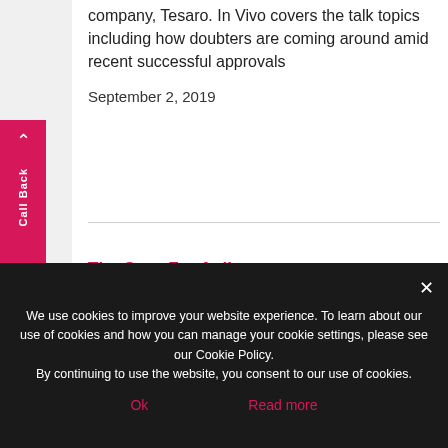company, Tesaro. In Vivo covers the talk topics including how doubters are coming around amid recent successful approvals
September 2, 2019
[Figure (screenshot): Thumbnail image of article card: 'The Case For Agile Innovation In Health Care — Health Care Executives Need To Be More Agile, But How?' with colorful graphic illustration]
We use cookies to improve your website experience. To learn about our use of cookies and how you can manage your cookie settings, please see our Cookie Policy.
By continuing to use the website, you consent to our use of cookies.
Ok
Read more